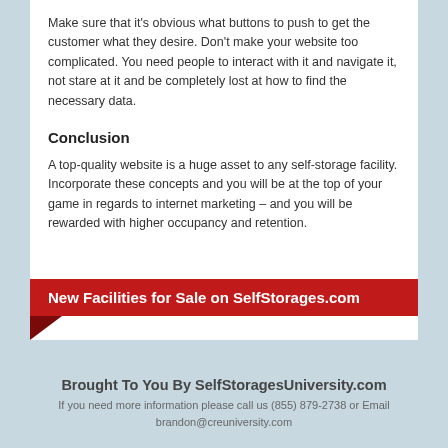Make sure that it’s obvious what buttons to push to get the customer what they desire. Don’t make your website too complicated. You need people to interact with it and navigate it, not stare at it and be completely lost at how to find the necessary data.
Conclusion
A top-quality website is a huge asset to any self-storage facility. Incorporate these concepts and you will be at the top of your game in regards to internet marketing – and you will be rewarded with higher occupancy and retention.
[Figure (infographic): Red banner with white bold text reading 'New Facilities for Sale on SelfStorages.com', with a dark red decorative fold on the bottom-left corner.]
Brought To You By SelfStoragesUniversity.com
If you need more information please call us (855) 879-2738 or Email brandon@creuniversity.com